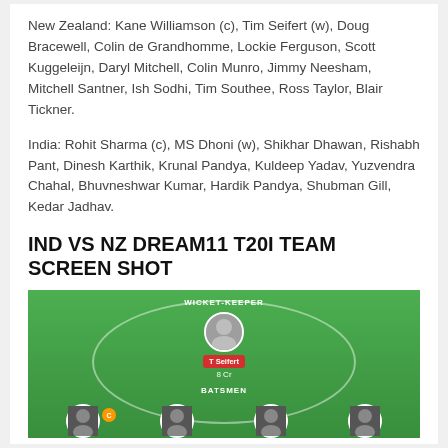New Zealand: Kane Williamson (c), Tim Seifert (w), Doug Bracewell, Colin de Grandhomme, Lockie Ferguson, Scott Kuggeleijn, Daryl Mitchell, Colin Munro, Jimmy Neesham, Mitchell Santner, Ish Sodhi, Tim Southee, Ross Taylor, Blair Tickner.
India: Rohit Sharma (c), MS Dhoni (w), Shikhar Dhawan, Rishabh Pant, Dinesh Karthik, Krunal Pandya, Kuldeep Yadav, Yuzvendra Chahal, Bhuvneshwar Kumar, Hardik Pandya, Shubman Gill, Kedar Jadhav.
IND VS NZ DREAM11 T20I TEAM SCREEN SHOT
[Figure (screenshot): Dream11 fantasy cricket team selection screen showing a green cricket field with player positions. WICKET-KEEPER position at top shows T Seifert (8 Cr). BATSMEN section visible below with partial player icons at bottom.]